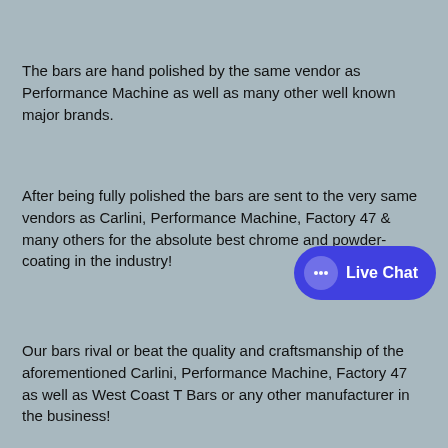The bars are hand polished by the same vendor as Performance Machine as well as many other well known major brands.
After being fully polished the bars are sent to the very same vendors as Carlini, Performance Machine, Factory 47 & many others for the absolute best chrome and powder-coating in the industry!
Our bars rival or beat the quality and craftsmanship of the aforementioned Carlini, Performance Machine, Factory 47 as well as West Coast T Bars or any other manufacturer in the business!
[Figure (other): Live Chat button widget — blue rounded pill shape with a white speech bubble icon showing ellipsis and 'Live Chat' label in white text]